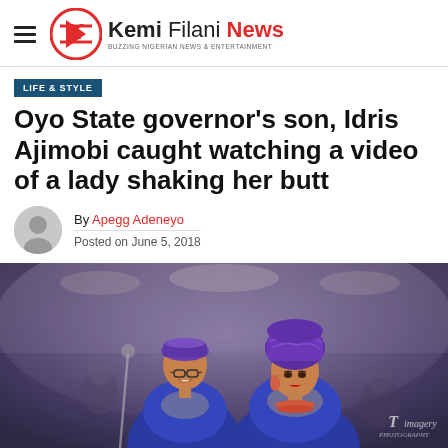Kemi Filani News — BUZZING NIGERIAN NEWS & ENTERTAINMENT
LIFE & STYLE
Oyo State governor's son, Idris Ajimobi caught watching a video of a lady shaking her butt
By Apegg Adeneyo
Posted on June 5, 2018
[Figure (photo): A couple dressed in traditional Nigerian attire (agbada and gele) in royal blue. The man wears glasses and a purple cap, smiling. The woman wears a purple gele headtie and coral jewelry. Watermark reads 'Timagery' bottom right.]